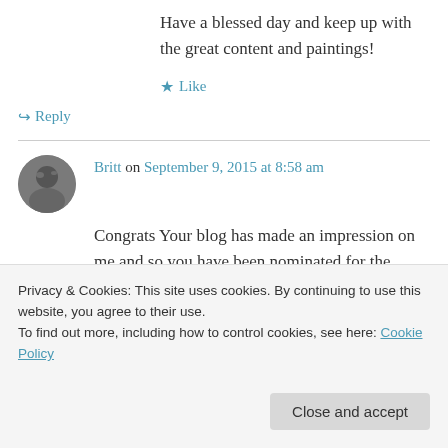Have a blessed day and keep up with the great content and paintings!
★ Like
↪ Reply
Britt on September 9, 2015 at 8:58 am
Congrats Your blog has made an impression on me and so you have been nominated for the Blogger Recognition Award. Please take a look
Privacy & Cookies: This site uses cookies. By continuing to use this website, you agree to their use.
To find out more, including how to control cookies, see here: Cookie Policy
Close and accept
Thank you and have a blessed day 🙂